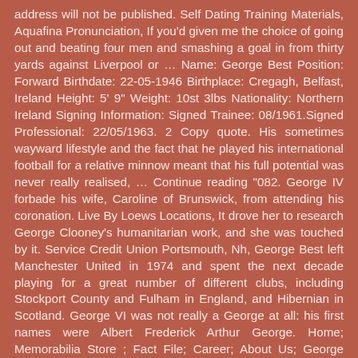address will not be published. Self Dating Training Materials, Aquafina Pronunciation, If you'd given me the choice of going out and beating four men and smashing a goal in from thirty yards against Liverpool or … Name: George Best Position: Forward Birthdate: 22-05-1946 Birthplace: Cregagh, Belfast, Ireland Height: 5' 9" Weight: 10st 3lbs Nationality: Northern Ireland Signing Information: Signed Trainee: 08/1961.Signed Professional: 22/05/1963. 2 Copy quote. His sometimes wayward lifestyle and the fact that he played his international football for a relative minnow meant that his full potential was never really realised, … Continue reading "082. George IV forbade his wife, Caroline of Brunswick, from attending his coronation. Live By Loews Locations, It drove her to research George Clooney's humanitarian work, and she was touched by it. Service Credit Union Portsmouth, Nh, George Best left Manchester United in 1974 and spent the next decade playing for a great number of different clubs, including Stockport County and Fulham in England, and Hibernian in Scotland. George VI was not really a George at all: his first names were Albert Frederick Arthur George. Home; Memorabilia Store ; Fact File; Career; About Us; George Best (22 May 1946 – 25 November 2005) was a Northern